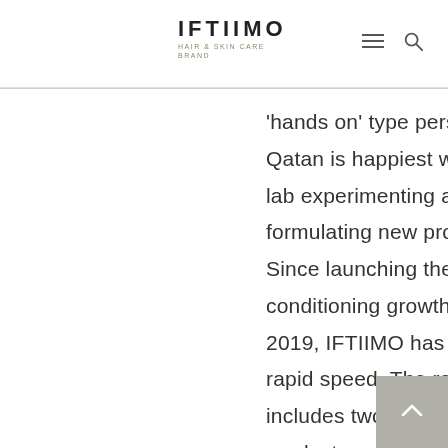IFTIIMO HAIR & SKIN CARE BRAND
'hands on' type personality, Qatan is happiest when in the lab experimenting and formulating new products. Since launching the conditioning growth oil in 2019, IFTIIMO has grown at a rapid speed. The range now includes two more haircare products and four skincare products. Qatan is working on several exciting new products with the goal to offer a comprehensive, high-quality range that women and men are proud to use.